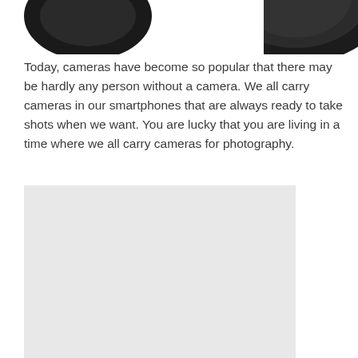[Figure (photo): Partial view of a camera lens, dark/black tones, cropped at top of page]
Today, cameras have become so popular that there may be hardly any person without a camera. We all carry cameras in our smartphones that are always ready to take shots when we want. You are lucky that you are living in a time where we all carry cameras for photography.
[Figure (photo): Light gray placeholder rectangle representing a photo]